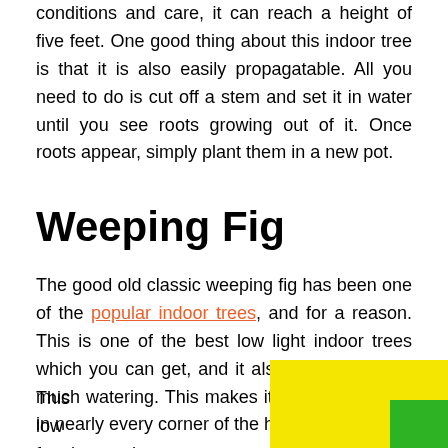conditions and care, it can reach a height of five feet. One good thing about this indoor tree is that it is also easily propagatable. All you need to do is cut off a stem and set it in water until you see roots growing out of it. Once roots appear, simply plant them in a new pot.
Weeping Fig
The good old classic weeping fig has been one of the popular indoor trees, and for a reason. This is one of the best low light indoor trees which you can get, and it also doesn't require much watering. This makes it perfect for decor in nearly every corner of the home.
This tree's low [maintenance] is great for those who want a greeny but don't have time. [It is] also a perfect choice if you want some air-purifying